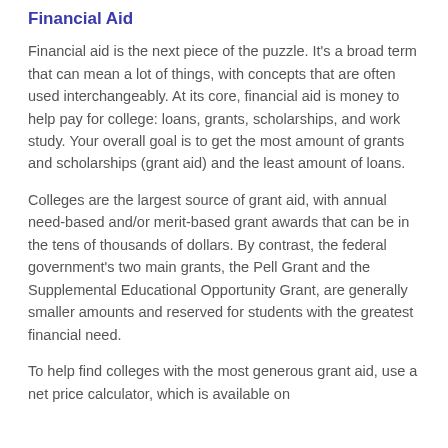Financial Aid
Financial aid is the next piece of the puzzle. It’s a broad term that can mean a lot of things, with concepts that are often used interchangeably. At its core, financial aid is money to help pay for college: loans, grants, scholarships, and work study. Your overall goal is to get the most amount of grants and scholarships (grant aid) and the least amount of loans.
Colleges are the largest source of grant aid, with annual need-based and/or merit-based grant awards that can be in the tens of thousands of dollars. By contrast, the federal government’s two main grants, the Pell Grant and the Supplemental Educational Opportunity Grant, are generally smaller amounts and reserved for students with the greatest financial need.
To help find colleges with the most generous grant aid, use a net price calculator, which is available on